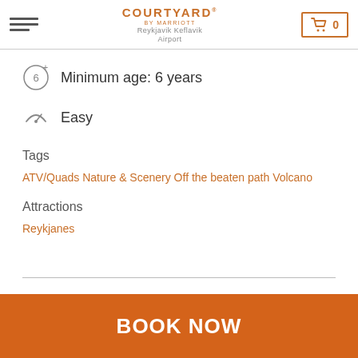COURTYARD BY MARRIOTT Reykjavik Keflavik Airport
Minimum age: 6 years
Easy
Tags
ATV/Quads Nature & Scenery Off the beaten path Volcano
Attractions
Reykjanes
BOOK NOW